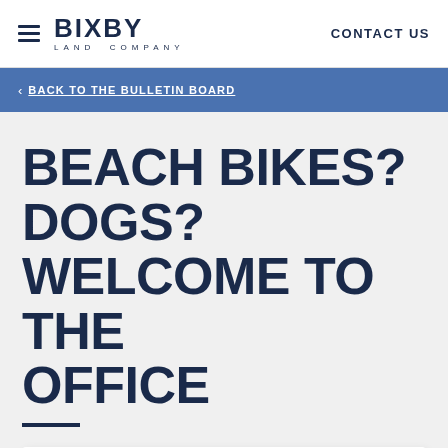BIXBY LAND COMPANY — CONTACT US
BACK TO THE BULLETIN BOARD
BEACH BIKES? DOGS? WELCOME TO THE OFFICE
EL SEGUNDO, CA-Bixby Land Co. and Cornerstone Real Estate Advisers, LLC have initiated a joint venture to acquire a vacant, five-story office building